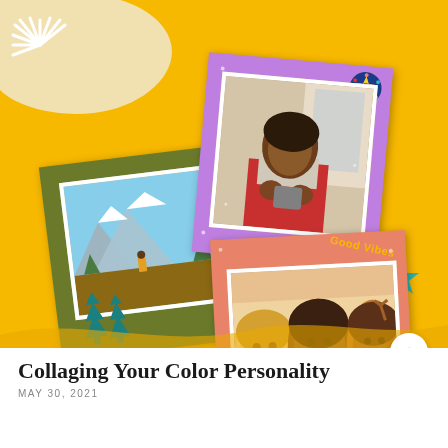[Figure (illustration): Colorful collage illustration on yellow background featuring three decorated photo cards: an olive-bordered mountain/nature photo, a purple-bordered portrait of a woman in red apron, and a salmon-bordered group selfie of three women. Decorative elements include cream cloud shape, white sun rays, teal star, teal tree icons, a colorful star badge, and 'Good Vibes' text.]
Collaging Your Color Personality
MAY 30, 2021